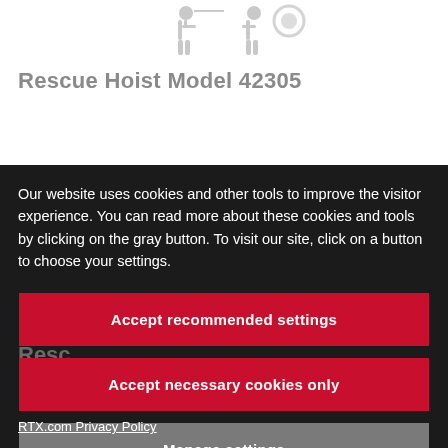[Figure (logo): Mechanical/engineering product logo or graphic partially visible at top center]
Rescue Hoist Model 42305
Our website uses cookies and other tools to improve the visitor experience. You can read more about these cookies and tools by clicking on the gray button. To visit our site, click on a button to choose your settings.
Accept recommended settings
Accept necessary cookies only
Manage settings
Rescu...
RTX.com Privacy Policy